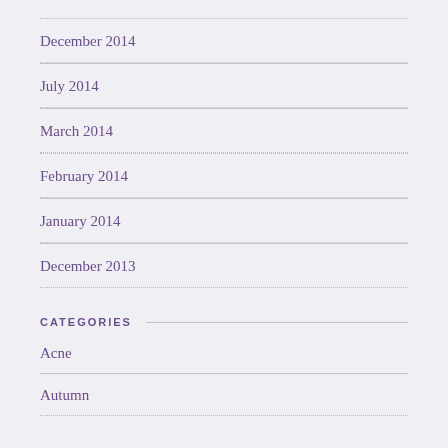December 2014
July 2014
March 2014
February 2014
January 2014
December 2013
CATEGORIES
Acne
Autumn